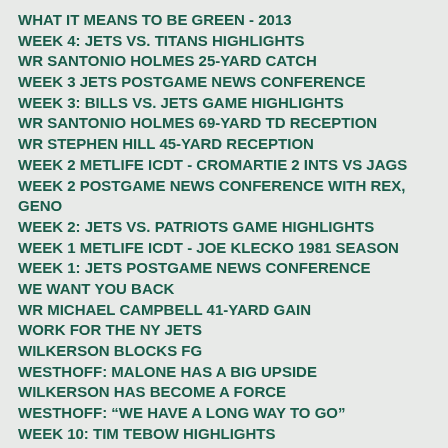WHAT IT MEANS TO BE GREEN - 2013
WEEK 4: JETS VS. TITANS HIGHLIGHTS
WR SANTONIO HOLMES 25-YARD CATCH
WEEK 3 JETS POSTGAME NEWS CONFERENCE
WEEK 3: BILLS VS. JETS GAME HIGHLIGHTS
WR SANTONIO HOLMES 69-YARD TD RECEPTION
WR STEPHEN HILL 45-YARD RECEPTION
WEEK 2 METLIFE ICDT - CROMARTIE 2 INTS VS JAGS
WEEK 2 POSTGAME NEWS CONFERENCE WITH REX, GENO
WEEK 2: JETS VS. PATRIOTS GAME HIGHLIGHTS
WEEK 1 METLIFE ICDT - JOE KLECKO 1981 SEASON
WEEK 1: JETS POSTGAME NEWS CONFERENCE
WE WANT YOU BACK
WR MICHAEL CAMPBELL 41-YARD GAIN
WORK FOR THE NY JETS
WILKERSON BLOCKS FG
WESTHOFF: MALONE HAS A BIG UPSIDE
WILKERSON HAS BECOME A FORCE
WESTHOFF: “WE HAVE A LONG WAY TO GO”
WEEK 10: TIM TEBOW HIGHLIGHTS
WESTHOFF MOVING ON AFTER FRUSTRATING WEEK 8
WEEK 8: TIM TEBOW HIGHLIGHTS
WOODY'S CALL TO DENNIS